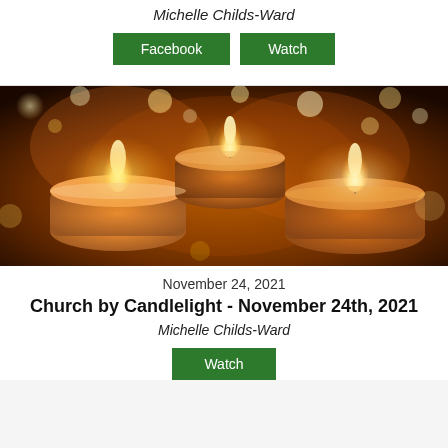Michelle Childs-Ward
Facebook  Watch
[Figure (photo): Close-up photograph of multiple lit orange/amber tea light candles with glowing flames against a dark warm background with bokeh light effects.]
November 24, 2021
Church by Candlelight - November 24th, 2021
Michelle Childs-Ward
Watch